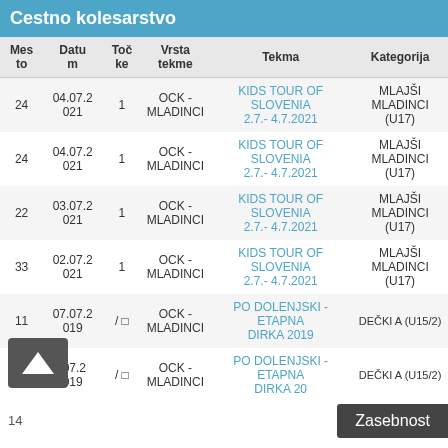Cestno kolesarstvo
| Mes to | Datu m | Toč ke | Vrsta tekme | Tekma | Kategorija |
| --- | --- | --- | --- | --- | --- |
| 24 | 04.07.2021 | 1 | OCK - MLADINCI | KIDS TOUR OF SLOVENIA 2.7.- 4.7.2021 | MLAJŠI MLADINCI (U17) |
| 24 | 04.07.2021 | 1 | OCK - MLADINCI | KIDS TOUR OF SLOVENIA 2.7.- 4.7.2021 | MLAJŠI MLADINCI (U17) |
| 22 | 03.07.2021 | 1 | OCK - MLADINCI | KIDS TOUR OF SLOVENIA 2.7.- 4.7.2021 | MLAJŠI MLADINCI (U17) |
| 33 | 02.07.2021 | 1 | OCK - MLADINCI | KIDS TOUR OF SLOVENIA 2.7.- 4.7.2021 | MLAJŠI MLADINCI (U17) |
| 11 | 07.07.2019 | / □ | OCK - MLADINCI | PO DOLENJSKI - ETAPNA DIRKA 2019 | DEČKI A (U15/2) |
| 14 | .07.2019 | / □ | OCK - MLADINCI | PO DOLENJSKI - ETAPNA DIRKA 20 | DEČKI A (U15/2) |